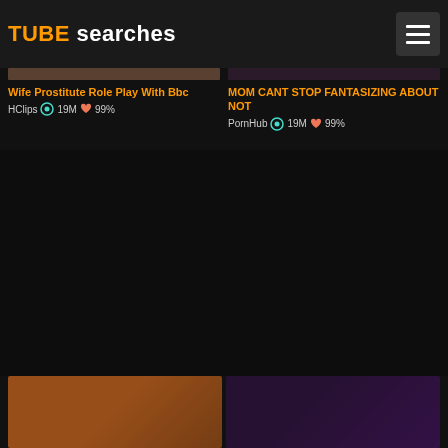TUBE searches
Wife Prostitute Role Play With Bbc
HClips 👁 19M ❤ 99%
MOM CANT STOP FANTASIZING ABOUT NOT
PornHub 👁 19M ❤ 99%
[Figure (photo): Partial video thumbnail at bottom left]
[Figure (photo): Partial video thumbnail at bottom right]